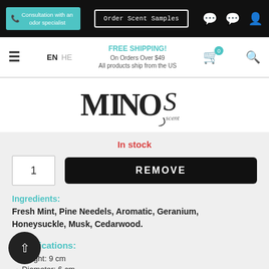Consultation with an odor specialist | Order Scent Samples
EN HE | FREE SHIPPING! On Orders Over $49 All products ship from the US
[Figure (logo): MINOS scent brand logo in black serif typography]
In stock
1 | REMOVE
Ingredients:
Fresh Mint, Pine Needels, Aromatic, Geranium, Honeysuckle, Musk, Cedarwood.
Specifications:
→ Height: 9 cm
→ Diameter: 6 cm
→ Scent capsule: 65 ml of high quality fragrance, sufficient for three months of use.
→ Powered by a rechargeable battery; sufficient for